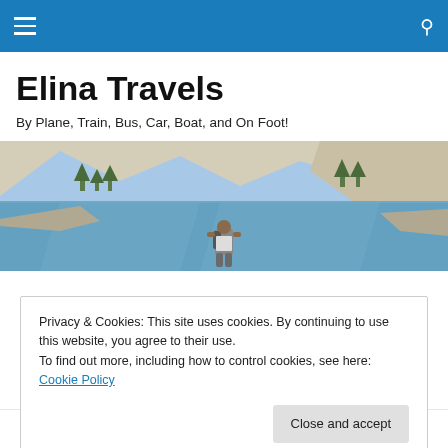Elina Travels — navigation bar with hamburger menu and search icon
Elina Travels
By Plane, Train, Bus, Car, Boat, and On Foot!
[Figure (photo): Panoramic outdoor photo of a mountain lake with rocky surroundings and a hiker viewed from behind standing at the water's edge, with reflections of mountains and trees in the still water.]
Privacy & Cookies: This site uses cookies. By continuing to use this website, you agree to their use.
To find out more, including how to control cookies, see here: Cookie Policy
Close and accept